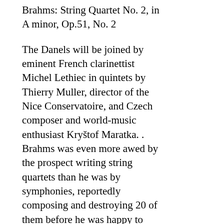Brahms: String Quartet No. 2, in A minor, Op.51, No. 2
The Danels will be joined by eminent French clarinettist Michel Lethiec in quintets by Thierry Muller, director of the Nice Conservatoire, and Czech composer and world-music enthusiast Kryštof Maratka. . Brahms was even more awed by the prospect writing string quartets than he was by symphonies, reportedly composing and destroying 20 of them before he was happy to release two for publication, in 1873. More lyrical than its C minor companion, the A